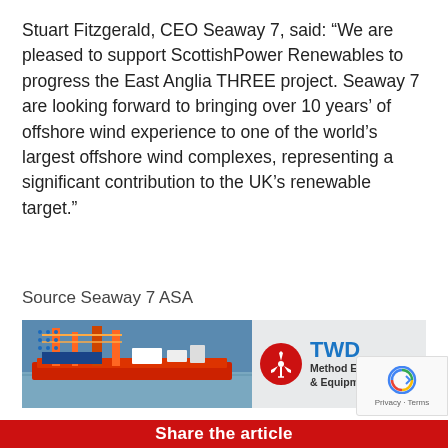Stuart Fitzgerald, CEO Seaway 7, said: “We are pleased to support ScottishPower Renewables to progress the East Anglia THREE project. Seaway 7 are looking forward to bringing over 10 years’ of offshore wind experience to one of the world’s largest offshore wind complexes, representing a significant contribution to the UK’s renewable target.”
Source Seaway 7 ASA
[Figure (infographic): Advertisement banner for TWD Method Engineering & Equipment Design showing an offshore wind installation vessel on water, with TWD logo (red circle with wind turbine icon) and company tagline.]
Share the article